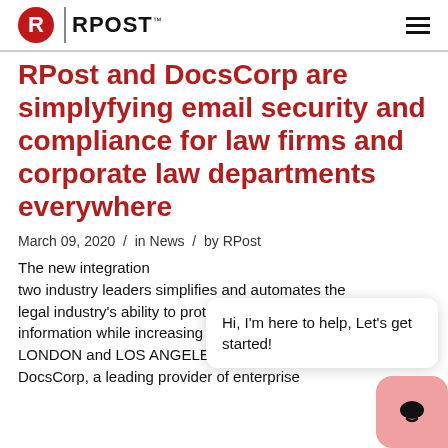RPost
RPost and DocsCorp are simplyfying email security and compliance for law firms and corporate law departments everywhere
March 09, 2020  /  in News  /  by RPost
The new integration two industry leaders simplifies and automates the legal industry's ability to protect sensitive client information while increasing efficiencies for s… LONDON and LOS ANGELES – March 10, 202… DocsCorp, a leading provider of enterprise